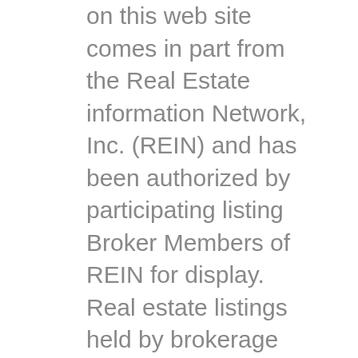on this web site comes in part from the Real Estate information Network, Inc. (REIN) and has been authorized by participating listing Broker Members of REIN for display. Real estate listings held by brokerage firms other than LEE S. HALYARD & ASSOCIATES, REALTORS are marked by the REIN symbol; detailed information about such listings includes the names of listing brokers.
Users of this Site are granted a limited, nonexclusive license to use the Site and its listing content for personal and noncommercial use only.
Real Estate Information Network, Inc. (REIN)